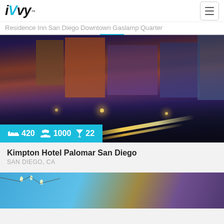[Figure (logo): iVvy logo with blue V]
Residence Inn San Diego Downtown Gaslamp Quarter
[Figure (photo): Night cityscape photo of San Diego Gaslamp Quarter with light-streaked street, brick buildings, and glowing lights. Badge shows: bed 420, group 1000, cocktail 22]
Kimpton Hotel Palomar San Diego
SAN DIEGO, CA
[Figure (photo): Partial photo of next hotel listing showing string lights against blue sky]